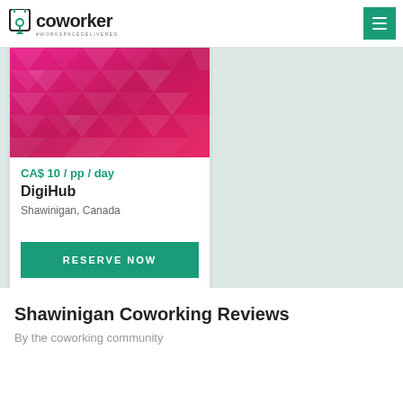coworker #WORKSPACEDELIVERED
[Figure (screenshot): DigiHub coworking space listing card with pink geometric banner image, price CA$ 10 / pp / day, location Shawinigan Canada, and a green Reserve Now button]
Shawinigan Coworking Reviews
By the coworking community